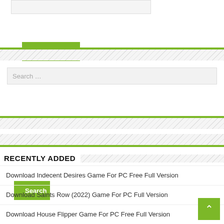[Comment textarea field]
Post Comment
Search …
Search
RECENTLY ADDED
Download Indecent Desires Game For PC Free Full Version
Download Saints Row (2022) Game For PC Full Version
Download House Flipper Game For PC Free Full Version